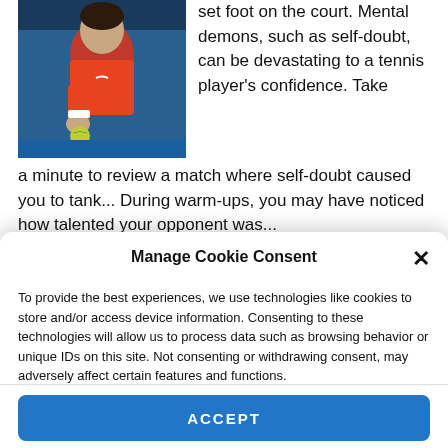[Figure (photo): Tennis player in orange shirt holding a tennis ball, appears to be Rafael Nadal, photo taken during a match]
set foot on the court. Mental demons, such as self-doubt, can be devastating to a tennis player's confidence. Take a minute to review a match where self-doubt caused you to tank... During warm-ups, you may have noticed how talented your opponent was...
Manage Cookie Consent
To provide the best experiences, we use technologies like cookies to store and/or access device information. Consenting to these technologies will allow us to process data such as browsing behavior or unique IDs on this site. Not consenting or withdrawing consent, may adversely affect certain features and functions.
ACCEPT